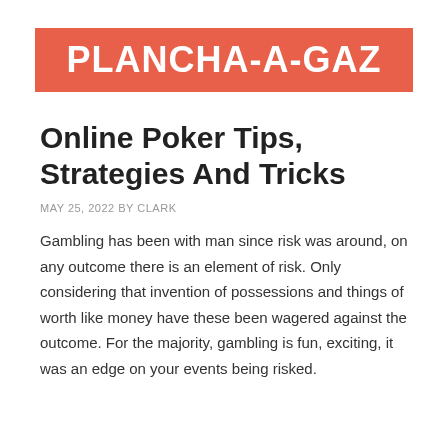[Figure (logo): PLANCHA-A-GAZ logo: white bold uppercase text on a coral/salmon red rectangular background]
Online Poker Tips, Strategies And Tricks
MAY 25, 2022 BY CLARK
Gambling has been with man since risk was around, on any outcome there is an element of risk. Only considering that invention of possessions and things of worth like money have these been wagered against the outcome. For the majority, gambling is fun, exciting, it was an edge on your events being risked.